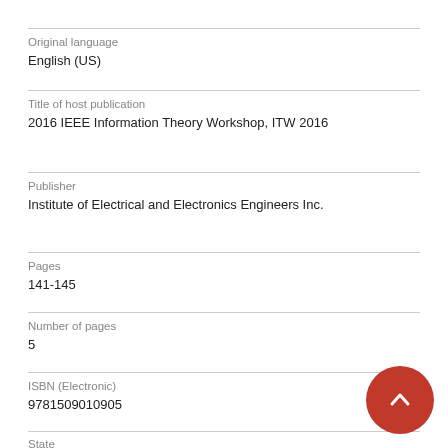Original language
English (US)
Title of host publication
2016 IEEE Information Theory Workshop, ITW 2016
Publisher
Institute of Electrical and Electronics Engineers Inc.
Pages
141-145
Number of pages
5
ISBN (Electronic)
9781509010905
State